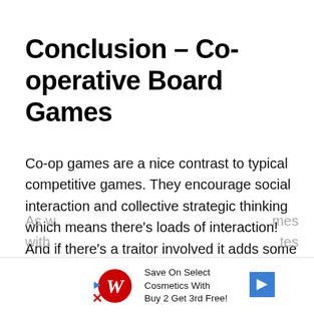Conclusion – Co-operative Board Games
Co-op games are a nice contrast to typical competitive games. They encourage social interaction and collective strategic thinking which means there's loads of interaction! And if there's a traitor involved it adds some tension into the mix!
As w... mes with... tes
[Figure (other): Walgreens advertisement banner: Save On Select Cosmetics With Buy 2 Get 3rd Free!]